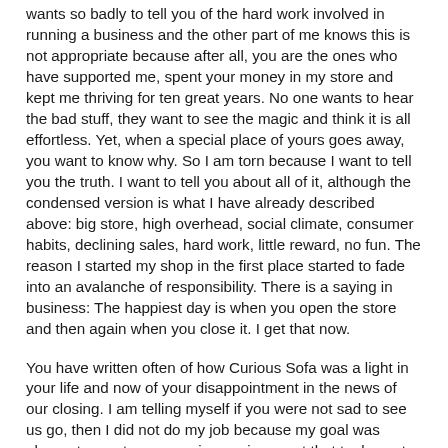wants so badly to tell you of the hard work involved in running a business and the other part of me knows this is not appropriate because after all, you are the ones who have supported me, spent your money in my store and kept me thriving for ten great years. No one wants to hear the bad stuff, they want to see the magic and think it is all effortless. Yet, when a special place of yours goes away, you want to know why. So I am torn because I want to tell you the truth. I want to tell you about all of it, although the condensed version is what I have already described above: big store, high overhead, social climate, consumer habits, declining sales, hard work, little reward, no fun. The reason I started my shop in the first place started to fade into an avalanche of responsibility. There is a saying in business: The happiest day is when you open the store and then again when you close it. I get that now.
You have written often of how Curious Sofa was a light in your life and now of your disappointment in the news of our closing. I am telling myself if you were not sad to see us go, then I did not do my job because my goal was always to create an amazing environment that took you to another